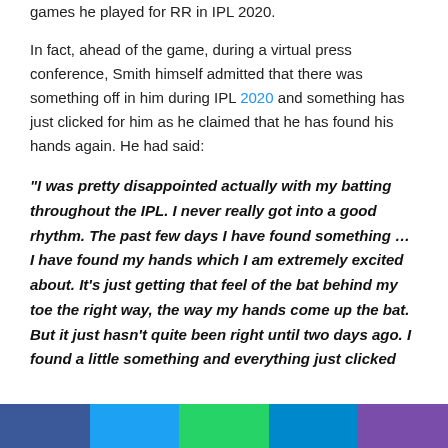games he played for RR in IPL 2020.
In fact, ahead of the game, during a virtual press conference, Smith himself admitted that there was something off in him during IPL 2020 and something has just clicked for him as he claimed that he has found his hands again. He had said:
“I was pretty disappointed actually with my batting throughout the IPL. I never really got into a good rhythm. The past few days I have found something … I have found my hands which I am extremely excited about. It’s just getting that feel of the bat behind my toe the right way, the way my hands come up the bat. But it just hasn’t quite been right until two days ago. I found a little something and everything just clicked
Facebook | Twitter | WhatsApp | Telegram | Viber